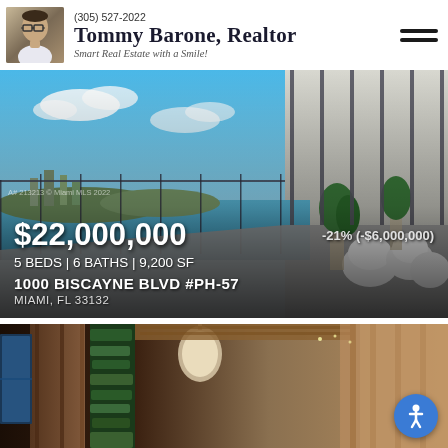(305) 527-2022 | Tommy Barone, Realtor | Smart Real Estate with a Smile!
[Figure (photo): High-rise penthouse balcony with panoramic bay view of Miami waterfront, white pod chairs, tropical plants. Overlaid listing info: $22,000,000, -21% (-$6,000,000), 5 BEDS | 6 BATHS | 9,200 SF, 1000 BISCAYNE BLVD #PH-57, MIAMI, FL 33132]
[Figure (photo): Interior lobby or atrium of luxury building with wood paneling, green vertical gardens, and modern architectural details. Accessibility button visible bottom right.]